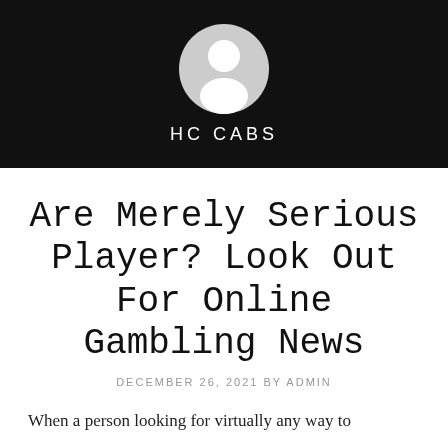[Figure (illustration): Black banner header with a circular grey avatar/profile placeholder icon (silhouette of a person) centered at top]
HC CABS
Are Merely Serious Player? Look Out For Online Gambling News
DECEMBER 26, 2021 BY ADMIN
When a person looking for virtually any way to